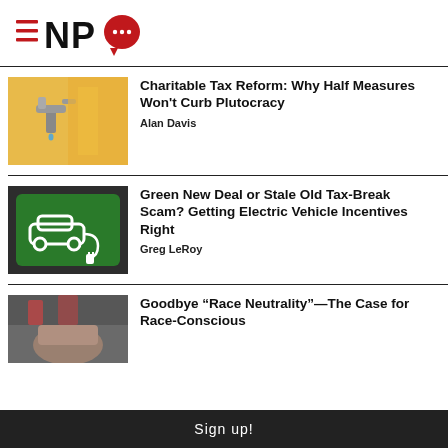[Figure (logo): NPQ (Nonprofit Quarterly) logo with hamburger menu icon and red speech bubble]
[Figure (photo): A dripping water faucet with yellow taxi cab in background]
Charitable Tax Reform: Why Half Measures Won't Curb Plutocracy
Alan Davis
[Figure (photo): Green parking lot sign with white electric car and charging plug icon]
Green New Deal or Stale Old Tax-Break Scam? Getting Electric Vehicle Incentives Right
Greg LeRoy
[Figure (photo): Person exchanging items, urban background]
Goodbye “Race Neutrality”—The Case for Race-Conscious
Sign up!